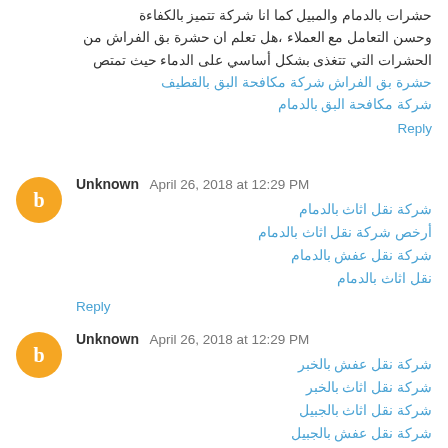حشرات بالدمام والمبيل كما انا شركة تتميز بالكفاءة وحسن التعامل مع العملاء ،هل تعلم ان حشرة بق الفراش من الحشرات التي تتغذى بشكل أساسي على الدماء حيث تمتص حشرة بق الفراش شركة مكافحة البق بالقطيف شركة مكافحة البق بالدمام
Reply
Unknown April 26, 2018 at 12:29 PM
شركة نقل اثاث بالدمام
أرخص شركة نقل اثاث بالدمام
شركة نقل عفش بالدمام
نقل اثاث بالدمام
Reply
Unknown April 26, 2018 at 12:29 PM
شركة نقل عفش بالخبر
شركة نقل اثاث بالخبر
شركة نقل اثاث بالجبيل
شركة نقل عفش بالجبيل